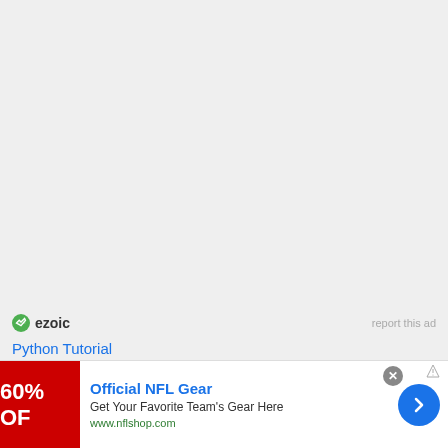[Figure (logo): Ezoic logo with green circular icon and 'ezoic' text in dark color, with 'report this ad' link to the right]
Python Tutorial
Selenium Tutorial
Spring Boot Tutorial
[Figure (screenshot): Advertisement banner at bottom: NFL shop ad showing '60% OFF' in red background, 'Official NFL Gear', 'Get Your Favorite Team's Gear Here', 'www.nflshop.com', with blue circular next arrow button, close X button]